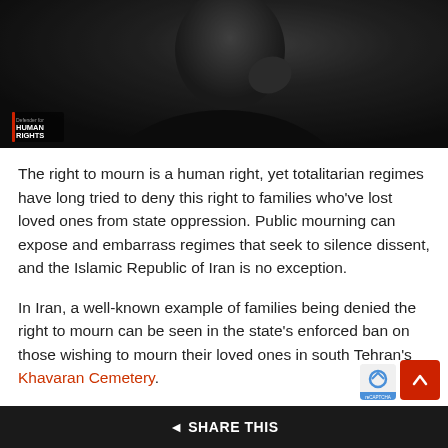[Figure (photo): Dark photo showing a person in a black shirt, partially visible, appearing to rest hand near face. A small Human Rights watermark logo is visible in the bottom-left corner of the image.]
The right to mourn is a human right, yet totalitarian regimes have long tried to deny this right to families who've lost loved ones from state oppression. Public mourning can expose and embarrass regimes that seek to silence dissent, and the Islamic Republic of Iran is no exception.
In Iran, a well-known example of families being denied the right to mourn can be seen in the state's enforced ban on those wishing to mourn their loved ones in south Tehran's Khavaran Cemetery.
Khavaran is the site of mass graves of political prisoners who were executed without due process in the summer of 1988 (Iran's current president, Ebrahim Raisi, played a direct role in the executions of those prisoners), as well as the
SHARE THIS